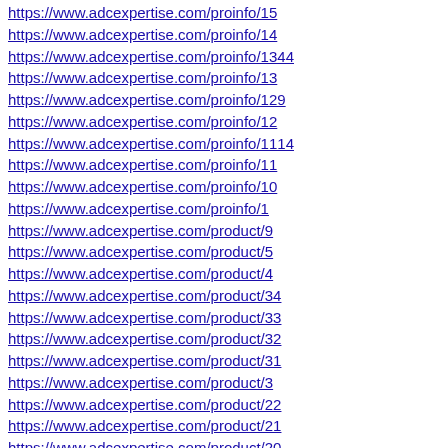https://www.adcexpertise.com/proinfo/15
https://www.adcexpertise.com/proinfo/14
https://www.adcexpertise.com/proinfo/1344
https://www.adcexpertise.com/proinfo/13
https://www.adcexpertise.com/proinfo/129
https://www.adcexpertise.com/proinfo/12
https://www.adcexpertise.com/proinfo/1114
https://www.adcexpertise.com/proinfo/11
https://www.adcexpertise.com/proinfo/10
https://www.adcexpertise.com/proinfo/1
https://www.adcexpertise.com/product/9
https://www.adcexpertise.com/product/5
https://www.adcexpertise.com/product/4
https://www.adcexpertise.com/product/34
https://www.adcexpertise.com/product/33
https://www.adcexpertise.com/product/32
https://www.adcexpertise.com/product/31
https://www.adcexpertise.com/product/3
https://www.adcexpertise.com/product/22
https://www.adcexpertise.com/product/21
https://www.adcexpertise.com/product/20
https://www.adcexpertise.com/product/2
https://www.adcexpertise.com/product/19
https://www.adcexpertise.com/product/18
https://www.adcexpertise.com/product/15
https://www.adcexpertise.com/product/1...